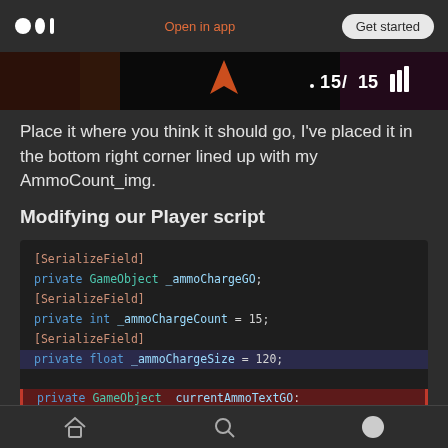Medium logo | Open in app | Get started
[Figure (screenshot): Game HUD screenshot showing ammo count 15/15 with icon bars on dark background]
Place it where you think it should go, I've placed it in the bottom right corner lined up with my AmmoCount_img.
Modifying our Player script
[Figure (screenshot): Code block showing C# Unity code with [SerializeField] attributes: private GameObject _ammoChargeGO; private int _ammoChargeCount = 15; private float _ammoChargeSize = 120; private GameObject currentAmmoTextGO:]
Navigation bar with home, search, and profile icons